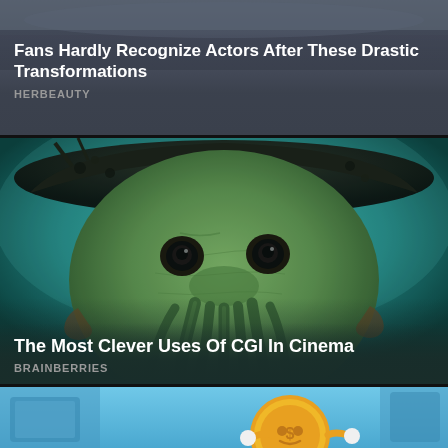[Figure (photo): Dark moody photo (partially visible at top), content card for HerBeauty article about actor transformations]
Fans Hardly Recognize Actors After These Drastic Transformations
HERBEAUTY
[Figure (photo): CGI character resembling Davy Jones from Pirates of the Caribbean — octopus-faced villain in a dark hat against teal-tinted background]
The Most Clever Uses Of CGI In Cinema
BRAINBERRIES
[Figure (photo): Animated coin character with arms and legs, cartoon-style, partially visible at bottom of page, blue background]